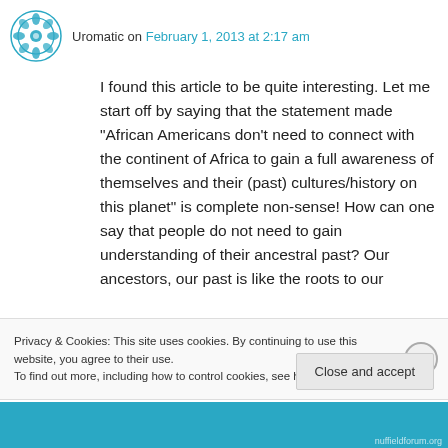Uromatic on February 1, 2013 at 2:17 am
I found this article to be quite interesting. Let me start off by saying that the statement made “African Americans don’t need to connect with the continent of Africa to gain a full awareness of themselves and their (past) cultures/history on this planet” is complete non-sense! How can one say that people do not need to gain understanding of their ancestral past? Our ancestors, our past is like the roots to our
Privacy & Cookies: This site uses cookies. By continuing to use this website, you agree to their use.
To find out more, including how to control cookies, see here: Cookie Policy
Close and accept